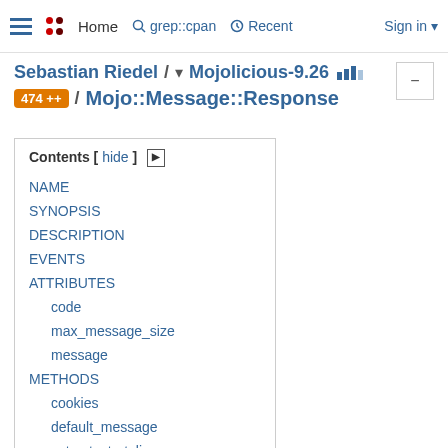Home   grep::cpan   Recent   Sign in
Sebastian Riedel / ▾ Mojolicious-9.26 / Mojo::Message::Response
474 ++
| NAME |
| SYNOPSIS |
| DESCRIPTION |
| EVENTS |
| ATTRIBUTES |
| code |
| max_message_size |
| message |
| METHODS |
| cookies |
| default_message |
| extract_start_line |